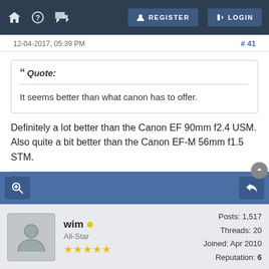REGISTER  LOGIN
12-04-2017, 05:39 PM   #41
Quote:
It seems better than what canon has to offer.
Definitely a lot better than the Canon EF 90mm f2.4 USM. Also quite a bit better than the Canon EF-M 56mm f1.5 STM.
wim  All-Star  Posts: 1,517  Threads: 20  Joined: Apr 2010  Reputation: 6